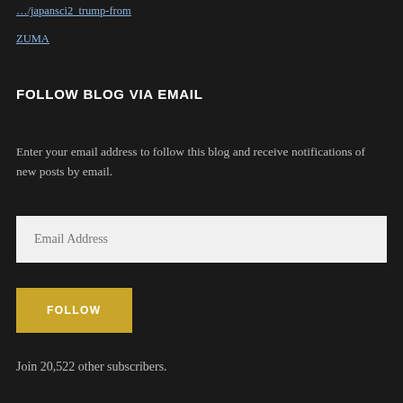… /japansci2_trump-from ZUMA
FOLLOW BLOG VIA EMAIL
Enter your email address to follow this blog and receive notifications of new posts by email.
Email Address
FOLLOW
Join 20,522 other subscribers.